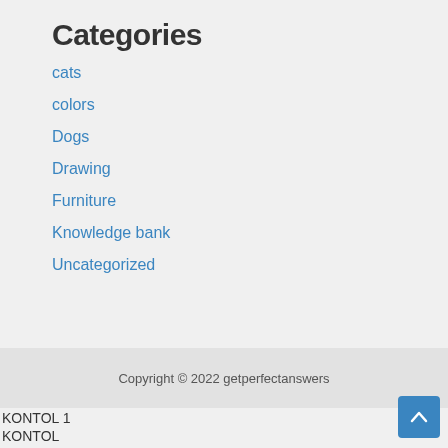Categories
cats
colors
Dogs
Drawing
Furniture
Knowledge bank
Uncategorized
Copyright © 2022 getperfectanswers
KONTOL 1
KONTOL